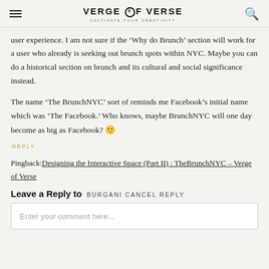VERGE OF VERSE — CULTIVATE YOUR CREATIVITY
user experience. I am not sure if the ‘Why do Brunch’ section will work for a user who already is seeking out brunch spots within NYC. Maybe you can do a historical section on brunch and its cultural and social significance instead.
The name ‘The BrunchNYC’ sort of reminds me Facebook’s initial name which was ‘The Facebook.’ Who knows, maybe BrunchNYC will one day become as big as Facebook? 🙂
REPLY
Pingback: Designing the Interactive Space (Part II) : TheBrunchNYC – Verge of Verse
Leave a Reply to BURGANI CANCEL REPLY
Enter your comment here...